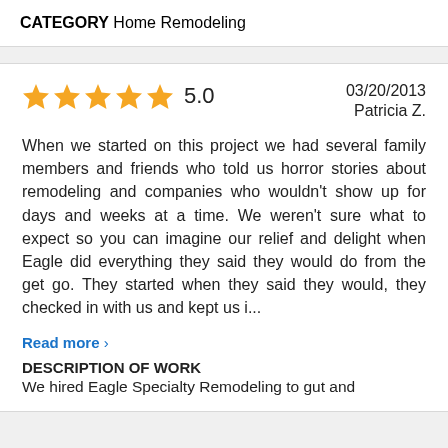CATEGORY Home Remodeling
5.0   03/20/2013   Patricia Z.
When we started on this project we had several family members and friends who told us horror stories about remodeling and companies who wouldn't show up for days and weeks at a time. We weren't sure what to expect so you can imagine our relief and delight when Eagle did everything they said they would do from the get go. They started when they said they would, they checked in with us and kept us i...
Read more >
DESCRIPTION OF WORK
We hired Eagle Specialty Remodeling to gut and remodel a kitchen, a bathroom, and some